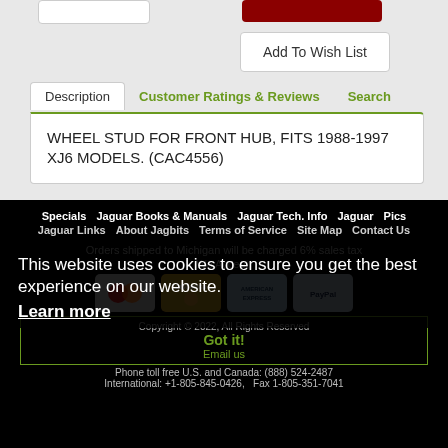Add To Wish List
Description | Customer Ratings & Reviews | Search
WHEEL STUD FOR FRONT HUB, FITS 1988-1997 XJ6 MODELS. (CAC4556)
Specials  Jaguar Books & Manuals  Jaguar Tech. Info  Jaguar Pics  Jaguar Links  About Jagbits  Terms of Service  Site Map  Contact Us
This website uses cookies to ensure you get the best experience on our website.
Learn more
Orders shipped to Michigan will be charged 6% sales tax
We Accept:
Copyright © 2022, All Rights Reserved
Got it!
Email us
Phone toll free U.S. and Canada: (888) 524-2487
International: +1-805-845-0426,   Fax 1-805-351-7041